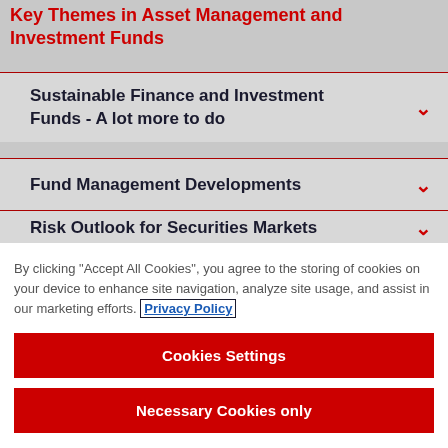Key Themes in Asset Management and Investment Funds
Sustainable Finance and Investment Funds - A lot more to do
Fund Management Developments
Risk Outlook for Securities Markets
By clicking "Accept All Cookies", you agree to the storing of cookies on your device to enhance site navigation, analyze site usage, and assist in our marketing efforts. Privacy Policy
Cookies Settings
Necessary Cookies only